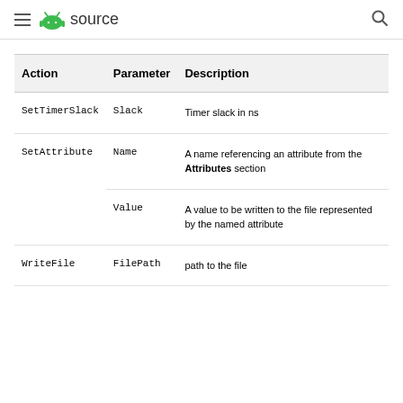≡ 🤖 source 🔍
| Action | Parameter | Description |
| --- | --- | --- |
| SetTimerSlack | Slack | Timer slack in ns |
| SetAttribute | Name | A name referencing an attribute from the Attributes section |
|  | Value | A value to be written to the file represented by the named attribute |
| WriteFile | FilePath | path to the file |